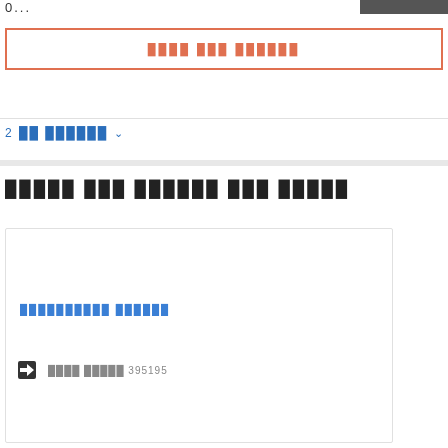0...
[Figure (other): Dark grey/black rectangular bar at top right]
████ ███ ██████
2 ██ ██████ ∨
█████ ███ ██████ ███ █████
██████████ ██████
████ █████ 395195